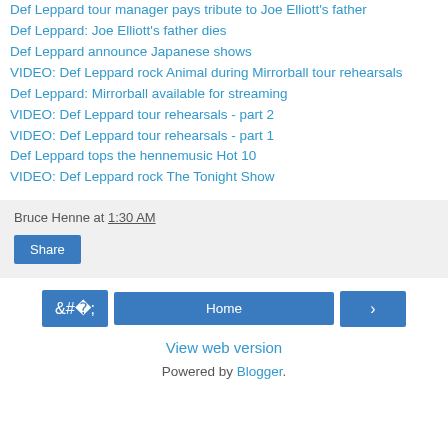Def Leppard tour manager pays tribute to Joe Elliott's father
Def Leppard: Joe Elliott's father dies
Def Leppard announce Japanese shows
VIDEO: Def Leppard rock Animal during Mirrorball tour rehearsals
Def Leppard: Mirrorball available for streaming
VIDEO: Def Leppard tour rehearsals - part 2
VIDEO: Def Leppard tour rehearsals - part 1
Def Leppard tops the hennemusic Hot 10
VIDEO: Def Leppard rock The Tonight Show
Bruce Henne at 1:30 AM
Share
Home
View web version
Powered by Blogger.